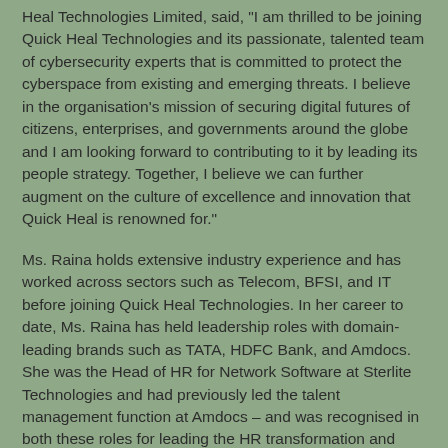Heal Technologies Limited, said, "I am thrilled to be joining Quick Heal Technologies and its passionate, talented team of cybersecurity experts that is committed to protect the cyberspace from existing and emerging threats. I believe in the organisation's mission of securing digital futures of citizens, enterprises, and governments around the globe and I am looking forward to contributing to it by leading its people strategy. Together, I believe we can further augment on the culture of excellence and innovation that Quick Heal is renowned for."
Ms. Raina holds extensive industry experience and has worked across sectors such as Telecom, BFSI, and IT before joining Quick Heal Technologies. In her career to date, Ms. Raina has held leadership roles with domain-leading brands such as TATA, HDFC Bank, and Amdocs. She was the Head of HR for Network Software at Sterlite Technologies and had previously led the talent management function at Amdocs – and was recognised in both these roles for leading the HR transformation and creating future-ready structures.
About Quick Heal Technologies Limited:-